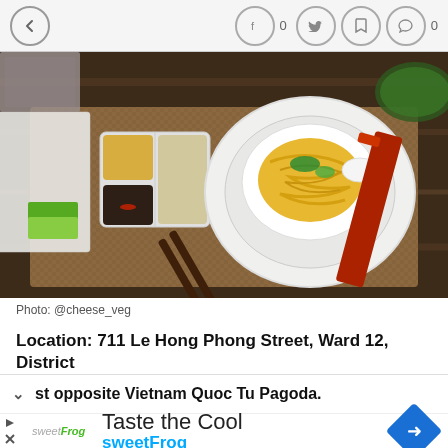[Figure (screenshot): Mobile app top navigation bar with back arrow, Facebook share (0), Twitter, bookmark, and comment (0) icons]
[Figure (photo): Overhead photo of Vietnamese food on a wooden table with woven placemat: a white bowl of yellow noodle dish, dipping sauces in a square dish, chopsticks, a spoon, and condiment packets]
Photo: @cheese_veg
Location: 711 Le Hong Phong Street, Ward 12, District
st opposite Vietnam Quoc Tu Pagoda.
[Figure (screenshot): Advertisement banner: sweetFrog logo, 'Taste the Cool' text, 'sweetFrog' in blue, and a blue diamond navigation icon]